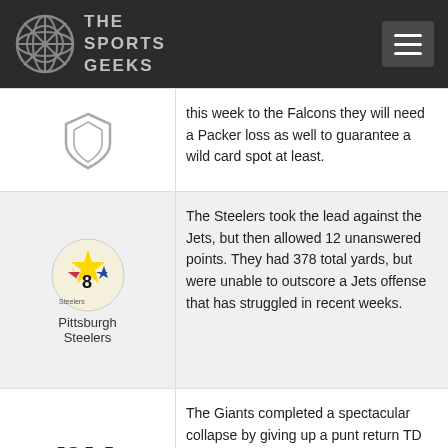The Sports Geeks
this week to the Falcons they will need a Packer loss as well to guarantee a wild card spot at least.
8 Pittsburgh Steelers — The Steelers took the lead against the Jets, but then allowed 12 unanswered points. They had 378 total yards, but were unable to outscore a Jets offense that has struggled in recent weeks.
9 New York Giants — The Giants completed a spectacular collapse by giving up a punt return TD to DeSean Jackson with no time left in the game. It might be hard for them to